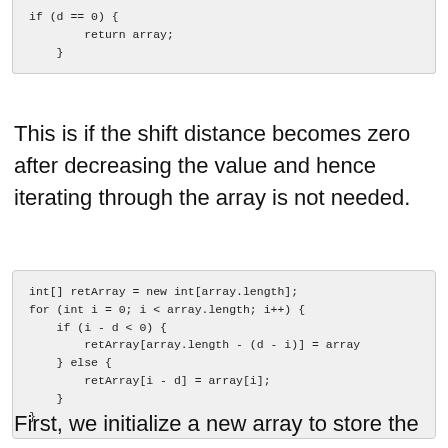if (d == 0) {
    return array;
}
This is if the shift distance becomes zero after decreasing the value and hence iterating through the array is not needed.
int[] retArray = new int[array.length];
for (int i = 0; i < array.length; i++) {
    if (i - d < 0) {
        retArray[array.length - (d - i)] = array
    } else {
        retArray[i - d] = array[i];
    }
}
First, we initialize a new array to store the